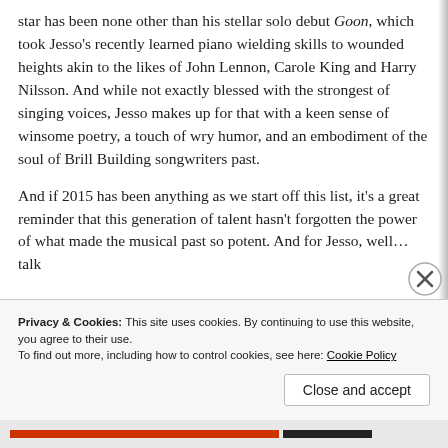star has been none other than his stellar solo debut Goon, which took Jesso's recently learned piano wielding skills to wounded heights akin to the likes of John Lennon, Carole King and Harry Nilsson. And while not exactly blessed with the strongest of singing voices, Jesso makes up for that with a keen sense of winsome poetry, a touch of wry humor, and an embodiment of the soul of Brill Building songwriters past.
And if 2015 has been anything as we start off this list, it's a great reminder that this generation of talent hasn't forgotten the power of what made the musical past so potent. And for Jesso, well… talk
Privacy & Cookies: This site uses cookies. By continuing to use this website, you agree to their use.
To find out more, including how to control cookies, see here: Cookie Policy